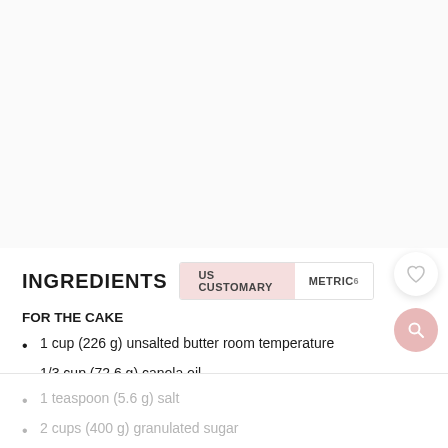[Figure (photo): Blank/white top section of a recipe webpage]
INGREDIENTS
FOR THE CAKE
1 cup (226 g) unsalted butter room temperature
1/3 cup (72.6 g) canola oil
1 teaspoon (5.6 g) salt
2 cups (400 g) granulated sugar